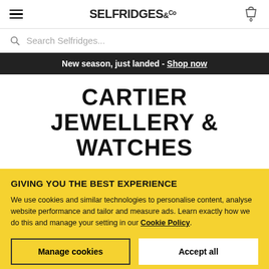SELFRIDGES &Co
Search Selfridges...
New season, just landed - Shop now
CARTIER JEWELLERY & WATCHES
GIVING YOU THE BEST EXPERIENCE
We use cookies and similar technologies to personalise content, analyse website performance and tailor and measure ads. Learn exactly how we do this and manage your setting in our Cookie Policy.
Manage cookies
Accept all